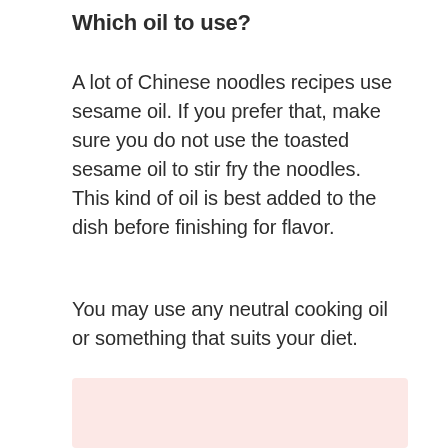Which oil to use?
A lot of Chinese noodles recipes use sesame oil. If you prefer that, make sure you do not use the toasted sesame oil to stir fry the noodles. This kind of oil is best added to the dish before finishing for flavor.
You may use any neutral cooking oil or something that suits your diet.
[Figure (other): Pink/light red rectangular banner or advertisement block]